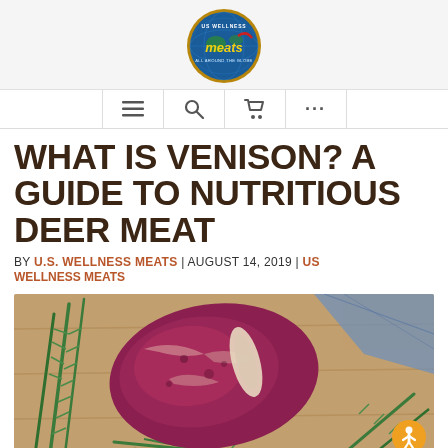[Figure (logo): US Wellness Meats circular logo with blue globe background, yellow 'meats' italic text, and gold border]
WHAT IS VENISON? A GUIDE TO NUTRITIOUS DEER MEAT
BY U.S. WELLNESS MEATS | AUGUST 14, 2019 | US WELLNESS MEATS
[Figure (photo): Raw venison deer meat cut surrounded by fresh rosemary sprigs on a wooden surface]